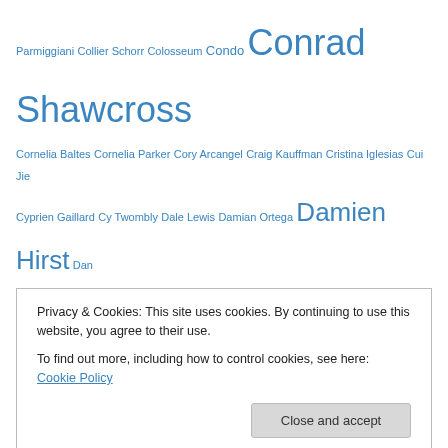Parmiggiani Collier Schorr Colosseum Condo Conrad Shawcross Cornelia Baltes Cornelia Parker Cory Arcangel Craig Kauffman Cristina Iglesias Cui Jie Cyprien Gaillard Cy Twombly Dale Lewis Damian Ortega Damien Hirst Dan Colen Dan Graham Danh Vo Daniel Arcand Daniel Buren Daniel Burren Daniel Jensen Daniel Richter Daniel Silver Daniel Sinsel Danny Rolph Daria Martin Darren Almond Darren Bader David Adamo David Altmejd David Annesley David Batchelor David Blandy David Hammons David Korty David Lieske David Musgrave David Noonan David Ogle David Salle David Schroeter David Shrigley Dayanita Singh Dee Ferris Dennis Oppenheim Derek Jarman Dexter Dalwood Diane Simpson Diebedo Francis Kere Dieter Roth Dinh Q Le Djordje Ozbolt
Privacy & Cookies: This site uses cookies. By continuing to use this website, you agree to their use. To find out more, including how to control cookies, see here: Cookie Policy
Close and accept